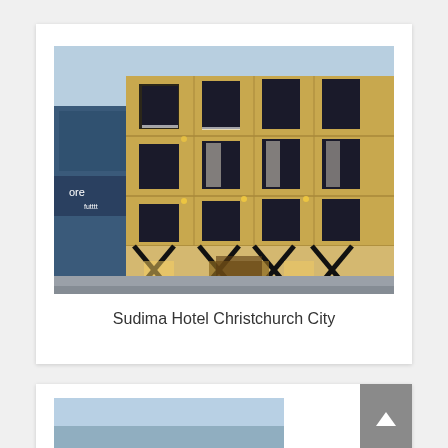[Figure (photo): Exterior photograph of Sudima Hotel Christchurch City — a modern multi-storey building with yellow/sandstone cladding, large black-framed windows, and X-shaped structural supports at ground level. Adjacent building visible on left with signage.]
Sudima Hotel Christchurch City
[Figure (photo): Partially visible second hotel photo, cropped at bottom of page, showing a blue sky background.]